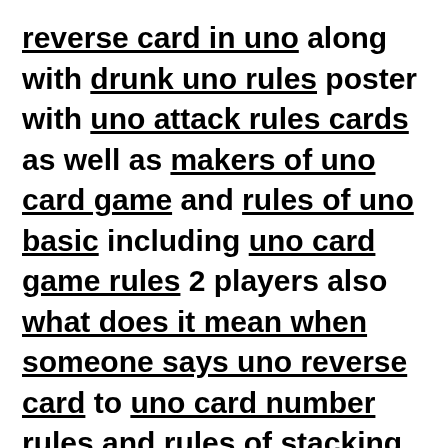reverse card in uno along with drunk uno rules poster with uno attack rules cards as well as makers of uno card game and rules of uno basic including uno card game rules 2 players also what does it mean when someone says uno reverse card to uno card number rules and rules of stacking in uno and rules of spicy uno with if you have a card in uno do you have to play it plus uno game all rules and numero uno card game.
How do you win in UNO? To win at playing